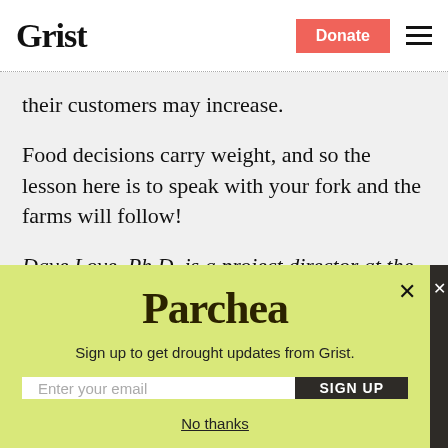Grist | Donate
their customers may increase.
Food decisions carry weight, and so the lesson here is to speak with your fork and the farms will follow!
Dave Love, Ph.D, is a project director at the Johns Hopkins Center for a Livable Future
[Figure (other): Parchea newsletter signup modal overlay with yellow-green background, logo text 'Parchea', subtitle 'Sign up to get drought updates from Grist.', email input field, SIGN UP button, and 'No thanks' link]
Sign up to get drought updates from Grist.
No thanks